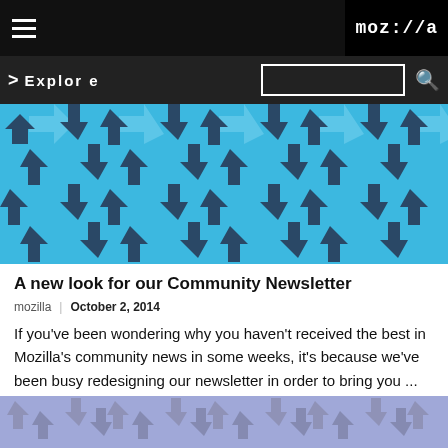moz://a | Explore
[Figure (illustration): Blue banner with repeating dark blue/light blue arrow pattern pointing in various directions]
A new look for our Community Newsletter
mozilla | October 2, 2014
If you've been wondering why you haven't received the best in Mozilla's community news in some weeks, it's because we've been busy redesigning our newsletter in order to bring you ...
Read more ▶
[Figure (illustration): Purple/lavender banner with repeating arrow/geometric pattern]